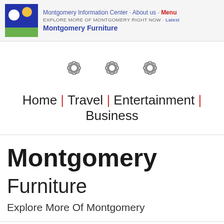Montgomery Information Center · About us · Menu
EXPLORE MORE OF MONTGOMERY RIGHT NOW · Latest
Montgomery Furniture
[Figure (illustration): Three decorative flower/rosette icons in gray outline style arranged horizontally]
Home | Travel | Entertainment | Business
Montgomery Furniture
Explore More Of Montgomery